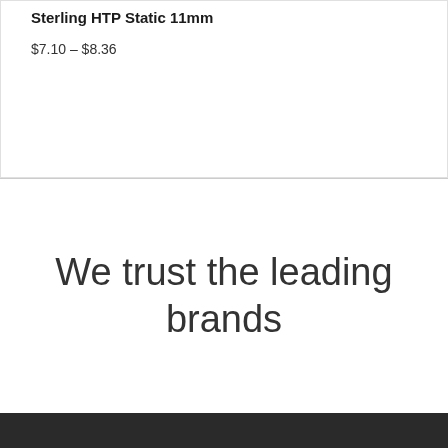Sterling HTP Static 11mm
$7.10 – $8.36
We trust the leading brands